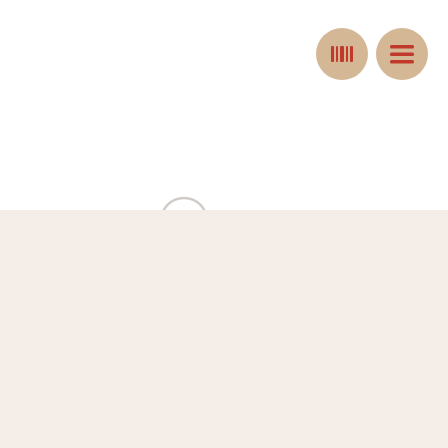[Figure (screenshot): Two circular tan/beige navigation buttons in top right corner - one with a grid/barcode icon and one with a hamburger menu icon]
[Figure (other): A grey loading spinner circle in the upper middle area]
We've put some small files called cookies on your device to make our site work. We'd also like to use analytics cookies. These send information about how our site is used to Google Analytics. We use this information to improve our site. Let us know if this is OK. We'll use a cookie to save your choice.
Please wait... the Application is Loading
Accept and close